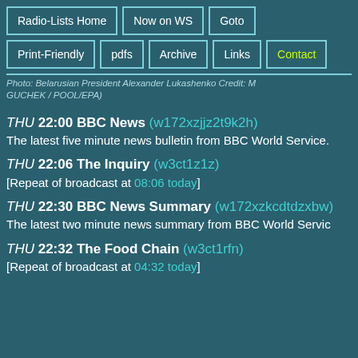Radio-Lists Home | Now on WS | Goto | Print-Friendly | pdfs | Archive | Links | Contact
Photo: Belarusian President Alexander Lukashenko Credit: GUCHEK / POOL/EPA)
THU 22:00 BBC News (w172xzjjz2t9k2h) The latest five minute news bulletin from BBC World Service.
THU 22:06 The Inquiry (w3ct1z1z) [Repeat of broadcast at 08:06 today]
THU 22:30 BBC News Summary (w172xzkcdtdzxbw) The latest two minute news summary from BBC World Service.
THU 22:32 The Food Chain (w3ct1rfn) [Repeat of broadcast at 04:32 today]